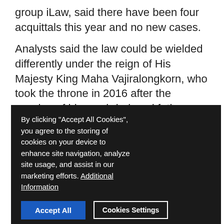group iLaw, said there have been four acquittals this year and no new cases.
Analysts said the law could be wielded differently under the reign of His Majesty King Maha Vajiralongkorn, who took the throne in 2016 after the passing of his much-beloved father King Bhumibol Adulyadej.
Sulak Sivaraksa, a historian who faced the charge after making remarks of an ancient elephant battle involving monarchs, said it was the new king's "choice" to in declining to pursue the case further.
But many are still serving time or in self-exile after being accused of the offence.
In August 2017 a prominent student activist was
By clicking "Accept All Cookies", you agree to the storing of cookies on your device to enhance site navigation, analyze site usage, and assist in our marketing efforts. Additional Information